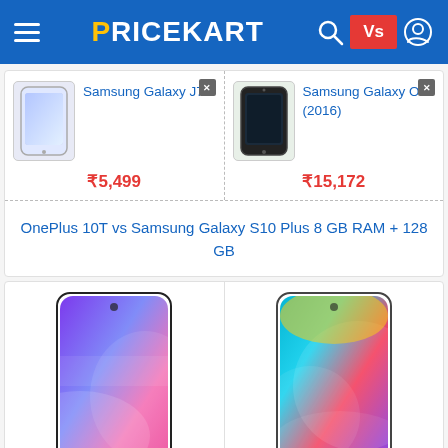[Figure (screenshot): Pricekart website navigation bar with hamburger menu, logo, search, VS button, and user icon]
[Figure (photo): Samsung Galaxy J7 phone thumbnail image]
Samsung Galaxy J7
₹5,499
[Figure (photo): Samsung Galaxy On (2016) phone thumbnail image]
Samsung Galaxy On (2016)
₹15,172
OnePlus 10T vs Samsung Galaxy S10 Plus 8 GB RAM + 128 GB
[Figure (photo): Samsung Galaxy A53 5G phone image showing colorful abstract wallpaper]
₹ 34,499
[Figure (photo): Samsung Galaxy M53 5G phone image showing colorful abstract wallpaper]
₹ 26,499
Samsung Galaxy A53 5G vs Samsung Galaxy M53 5G